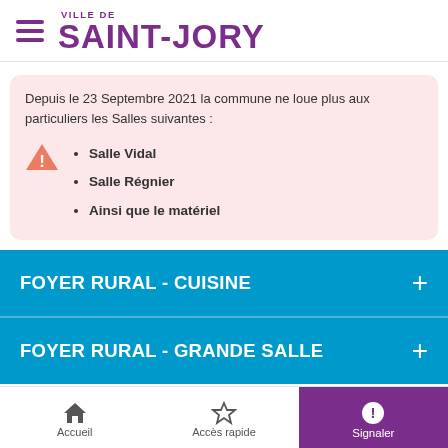VILLE DE SAINT-JORY
Depuis le 23 Septembre 2021 la commune ne loue plus aux particuliers les Salles suivantes :
Salle Vidal
Salle Régnier
Ainsi que le matériel
FOYER RURAL - CUISINE
FOYER RURAL - GRANDE SALLE
Accueil  Accès rapide  Signaler